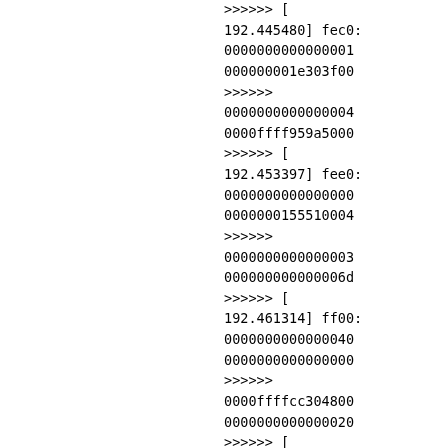>>>>>> [
192.445480] fec0:
0000000000000001
000000001e303f00
>>>>>>
0000000000000004
0000ffff959a5000
>>>>>> [
192.453397] fee0:
0000000000000000
0000000155510004
>>>>>>
0000000000000003
000000000000006d
>>>>>> [
192.461314] ff00:
0000000000000040
0000000000000000
>>>>>>
0000ffffcc304800
0000000000000020
>>>>>> [
192.469230] ff20:
0000000000000000
0000000000000000
>>>>>>
0000000000000001
0000000000000008
>>>>>> [
192.477148] ff40:
000000001b3b0